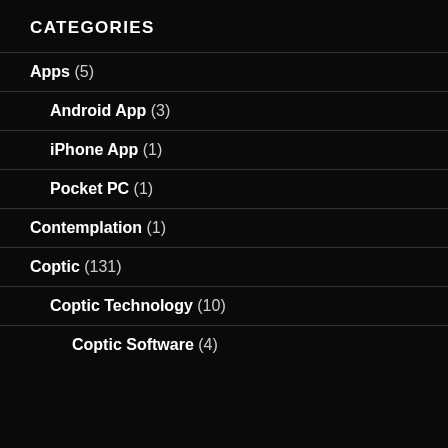CATEGORIES
Apps (5)
Android App (3)
iPhone App (1)
Pocket PC (1)
Contemplation (1)
Coptic (131)
Coptic Technology (10)
Coptic Software (4)